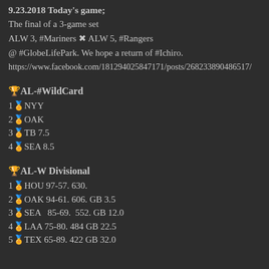9.23.2018 Today's game;
The final of a 3-game set
ALW 3, #Mariners ✖ ALW 5, #Rangers
@ #GlobeLifePark. We hope a return of #Ichiro.
https://www.facebook.com/181294025847171/posts/268233890486517/
🏆AL-#WildCard
1🏅NYY
2🏅OAK
3🏅TB 7.5
4🏅SEA 8.5
🏆AL-W Divisional
1🏅HOU 97-57. 630.
2🏅OAK 94-61. 606. GB 3.5
3🏅SEA  85-69.  552. GB 12.0
4🏅LAA 75-80. 484 GB 22.5
5🏅TEX 65-89. 422 GB 32.0